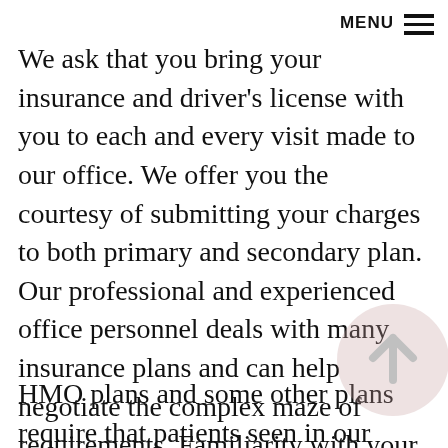MENU
We ask that you bring your insurance and driver’s license with you to each and every visit made to our office. We offer you the courtesy of submitting your charges to both primary and secondary plan. Our professional and experienced office personnel deals with many insurance plans and can help negotiate the complex maze of requirements. Familiarity with your particular insurance plan will minimize the potential for delays or limited coverage associated with your visit or surgery.
HMO plans and some other plans require that patients seen in our office bring a referral to